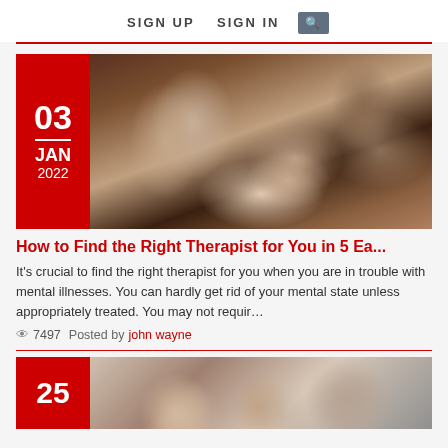SIGN UP   SIGN IN   🔍
[Figure (photo): Blog article card with red date badge showing 03 JAN 2022 and a blurred photo of hands gesturing in a therapy session]
How to Find the Right Therapist for You in 5 Ea...
It's crucial to find the right therapist for you when you are in trouble with mental illnesses. You can hardly get rid of your mental state unless appropriately treated. You may not requir…
👁 7497   Posted by john wayne
[Figure (photo): Partial second blog article card with red date badge showing 25 and a photo of three people looking at something together]